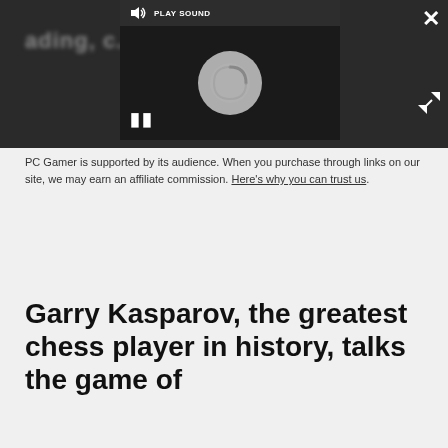[Figure (screenshot): Video player overlay on a dark background showing a loading spinner, PLAY SOUND button at top, pause button at bottom left, close (X) button at top right, and expand button at bottom right. Background shows blurred text of an article.]
PC Gamer is supported by its audience. When you purchase through links on our site, we may earn an affiliate commission. Here's why you can trust us.
Garry Kasparov, the greatest chess player in history, talks the game of